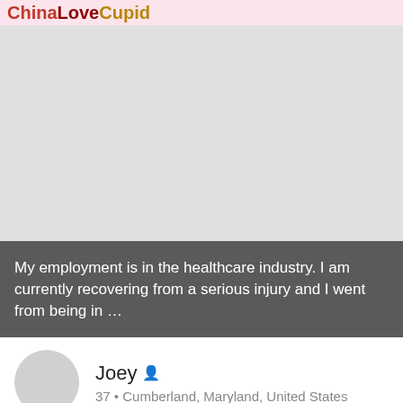ChinaLoveCupid
[Figure (map): Gray map area placeholder]
My employment is in the healthcare industry. I am currently recovering from a serious injury and I went from being in …
Joey  37 • Cumberland, Maryland, United States